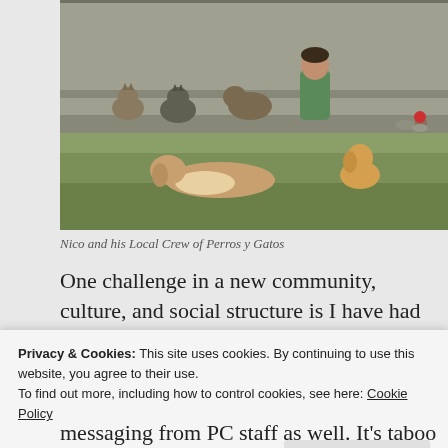[Figure (photo): A person sitting outdoors on grass with multiple dogs and cats around them, against a gray wall background.]
Nico and his Local Crew of Perros y Gatos
One challenge in a new community, culture, and social structure is I have had some real frustrations (full-on tantrums) about the circumstances and communication
Privacy & Cookies: This site uses cookies. By continuing to use this website, you agree to their use.
To find out more, including how to control cookies, see here: Cookie Policy
messaging from PC staff as well. It's taboo to say that but I just